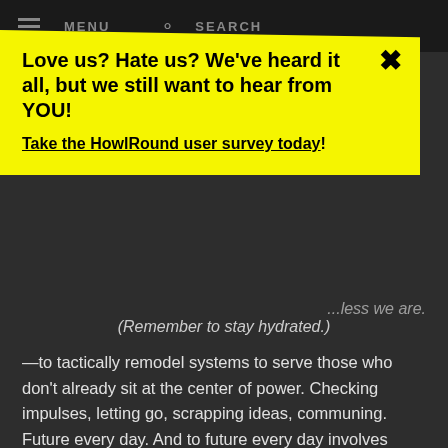MENU   SEARCH
Love us? Hate us? We've heard it all, but we still want to hear from YOU!
Take the HowlRound user survey today!
(Remember to stay hydrated.)
—to tactically remodel systems to serve those who don't already sit at the center of power. Checking impulses, letting go, scrapping ideas, communing. Future every day. And to future every day involves building a good deal of trust.
[Cue the Fart Sound.]
Lest we become too vainglorious inside our systemic analysis